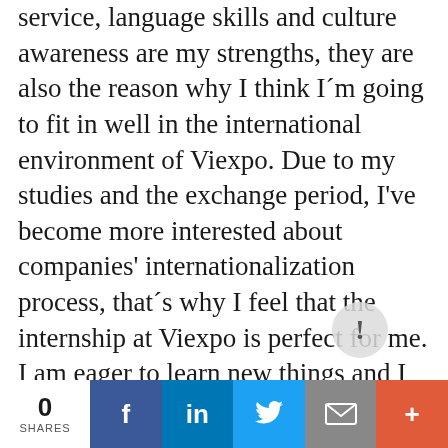service, language skills and culture awareness are my strengths, they are also the reason why I think I´m going to fit in well in the international environment of Viexpo. Due to my studies and the exchange period, I've become more interested about companies' internationalization process, that´s why I feel that the internship at Viexpo is perfect for me. I am eager to learn new things and I want to learn more about the different phases of the internationalization process and how to use them in practice, in order to help companies to enter
0 SHARES | f | in | twitter | email | +